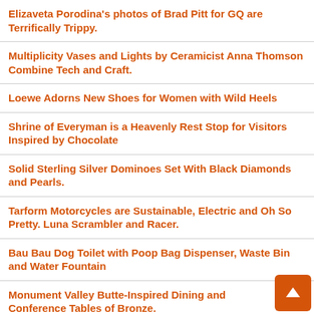Elizaveta Porodina's photos of Brad Pitt for GQ are Terrifically Trippy.
Multiplicity Vases and Lights by Ceramicist Anna Thomson Combine Tech and Craft.
Loewe Adorns New Shoes for Women with Wild Heels
Shrine of Everyman is a Heavenly Rest Stop for Visitors Inspired by Chocolate
Solid Sterling Silver Dominoes Set With Black Diamonds and Pearls.
Tarform Motorcycles are Sustainable, Electric and Oh So Pretty. Luna Scrambler and Racer.
Bau Bau Dog Toilet with Poop Bag Dispenser, Waste Bin and Water Fountain
Monument Valley Butte-Inspired Dining and Conference Tables of Bronze.